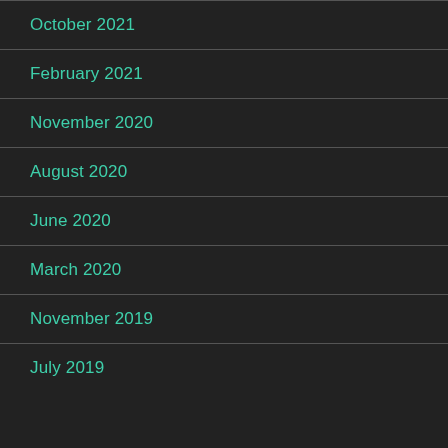October 2021
February 2021
November 2020
August 2020
June 2020
March 2020
November 2019
July 2019